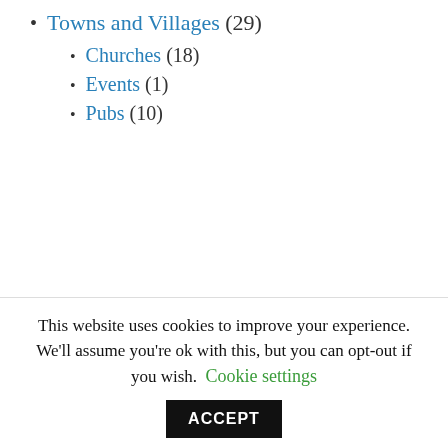Towns and Villages (29)
Churches (18)
Events (1)
Pubs (10)
[Figure (photo): An orange camping tent with a grey front tunnel section, set against a pinkish-white background. A blue sleeping bag or mat is visible in the foreground bottom area.]
This website uses cookies to improve your experience. We'll assume you're ok with this, but you can opt-out if you wish. Cookie settings ACCEPT